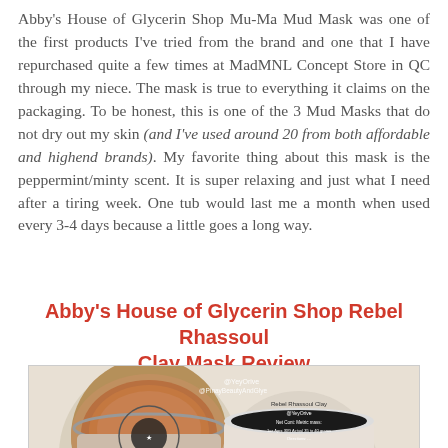Abby's House of Glycerin Shop Mu-Ma Mud Mask was one of the first products I've tried from the brand and one that I have repurchased quite a few times at MadMNL Concept Store in QC through my niece. The mask is true to everything it claims on the packaging. To be honest, this is one of the 3 Mud Masks that do not dry out my skin (and I've used around 20 from both affordable and highend brands). My favorite thing about this mask is the peppermint/minty scent. It is super relaxing and just what I need after a tiring week. One tub would last me a month when used every 3-4 days because a little goes a long way.
Abby's House of Glycerin Shop Rebel Rhassoul Clay Mask Review
[Figure (photo): Two small round plastic tubs of Abby's House of Glycerin Shop Rebel Rhassoul Clay Mask. The left tub is open showing reddish-brown clay powder inside. The right tub shows the black label on the bottom with product information.]